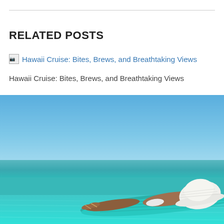RELATED POSTS
Hawaii Cruise: Bites, Brews, and Breathtaking Views
Hawaii Cruise: Bites, Brews, and Breathtaking Views
[Figure (photo): Woman lying on a teal floating mat in calm turquoise tropical ocean water under a clear blue sky, wearing a white sun hat and bikini, viewed from behind.]